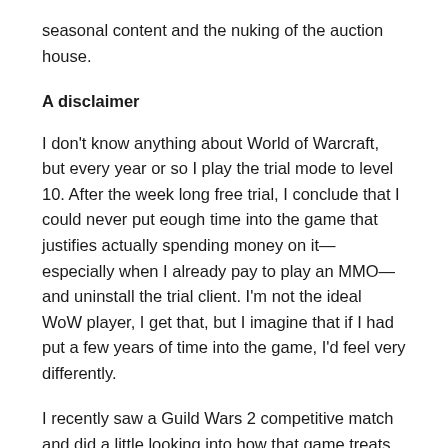seasonal content and the nuking of the auction house.
A disclaimer
I don't know anything about World of Warcraft, but every year or so I play the trial mode to level 10. After the week long free trial, I conclude that I could never put eough time into the game that justifies actually spending money on it—especially when I already pay to play an MMO—and uninstall the trial client. I'm not the ideal WoW player, I get that, but I imagine that if I had put a few years of time into the game, I'd feel very differently.
I recently saw a Guild Wars 2 competitive match and did a little looking into how that game treats its competitive mode. I learned about a serious differentiator that made a ton of sense and I wonder if it could affect some positive change in the World of